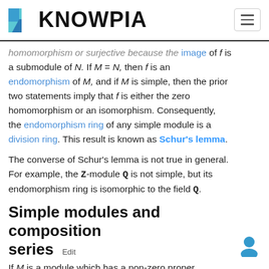KNOWPIA
homomorphism or surjective because the image of f is a submodule of N. If M = N, then f is an endomorphism of M, and if M is simple, then the prior two statements imply that f is either the zero homomorphism or an isomorphism. Consequently, the endomorphism ring of any simple module is a division ring. This result is known as Schur's lemma.
The converse of Schur's lemma is not true in general. For example, the Z-module Q is not simple, but its endomorphism ring is isomorphic to the field Q.
Simple modules and composition series
If M is a module which has a non-zero proper